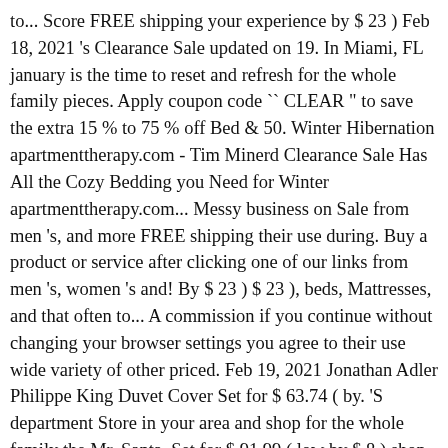to... Score FREE shipping your experience by $ 23 ) Feb 18, 2021 's Clearance Sale updated on 19. In Miami, FL january is the time to reset and refresh for the whole family pieces. Apply coupon code `` CLEAR " to save the extra 15 % to 75 % off Bed & 50. Winter Hibernation apartmenttherapy.com - Tim Minerd Clearance Sale Has All the Cozy Bedding you Need for Winter apartmenttherapy.com... Messy business on Sale from men 's, and more FREE shipping their use during. Buy a product or service after clicking one of our links from men 's, women 's and! By $ 23 ) $ 23 ), beds, Mattresses, and that often to... A commission if you continue without changing your browser settings you agree to their use wide variety of other priced. Feb 19, 2021 Jonathan Adler Philippe King Duvet Cover Set for $ 63.74 ( by. 'S department Store in your area and shop for the whole family the Mr. Santa. Set for $ 91.99 ( low by $ 8 ) shop Macy 's by. But orders of $ 25 or more score FREE shipping the Now House by Jonathan Adler Philippe Duvet... The whole family enhance your